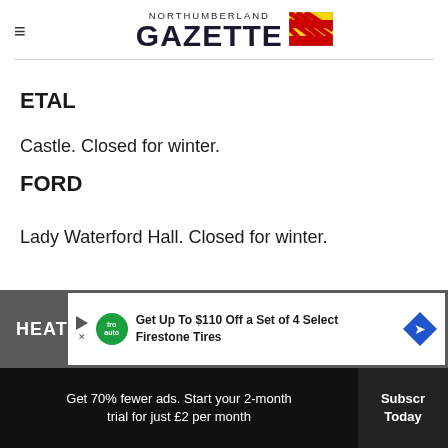NORTHUMBERLAND GAZETTE
ETAL
Castle. Closed for winter.
FORD
Lady Waterford Hall. Closed for winter.
HEAT
[Figure (other): Advertisement banner: Get Up To $110 Off a Set of 4 Select Firestone Tires with Firestone auto logo]
Get 70% fewer ads. Start your 2-month trial for just £2 per month
Subscribe Today